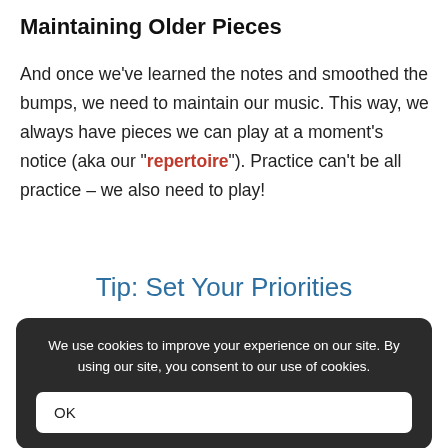Maintaining Older Pieces
And once we've learned the notes and smoothed the bumps, we need to maintain our music. This way, we always have pieces we can play at a moment's notice (aka our "repertoire"). Practice can't be all practice – we also need to play!
Tip: Set Your Priorities
We use cookies to improve your experience on our site. By using our site, you consent to our use of cookies.
OK